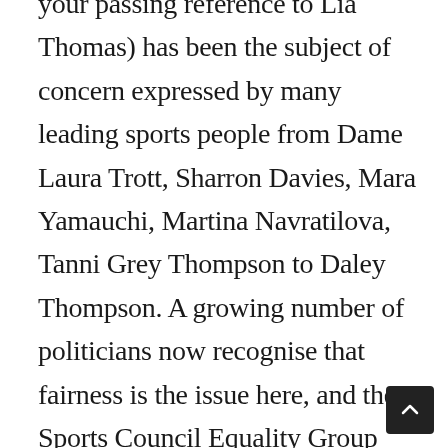your passing reference to Lia Thomas) has been the subject of concern expressed by many leading sports people from Dame Laura Trott, Sharron Davies, Mara Yamauchi, Martina Navratilova, Tanni Grey Thompson to Daley Thompson. A growing number of politicians now recognise that fairness is the issue here, and the Sports Council Equality Group guidelines clearly set out the evidence that fairness for women and trans inclusion